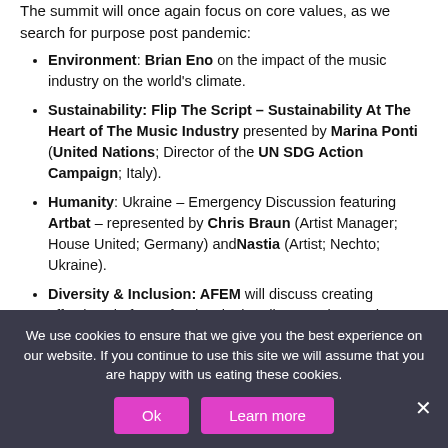The summit will once again focus on core values, as we search for purpose post pandemic:
Environment: Brian Eno on the impact of the music industry on the world's climate.
Sustainability: Flip The Script – Sustainability At The Heart of The Music Industry presented by Marina Ponti (United Nations; Director of the UN SDG Action Campaign; Italy).
Humanity: Ukraine – Emergency Discussion featuring Artbat – represented by Chris Braun (Artist Manager; House United; Germany) and Nastia (Artist; Nechto; Ukraine).
Diversity & Inclusion: AFEM will discuss creating effective platforms for developing diverse talent and inclusive environments.
The IMS Ibiza Summit 'Introducing' feature will continue to shine a light on new platforms, innovation and technology changing the face of the industry, including:
We use cookies to ensure that we give you the best experience on our website. If you continue to use this site we will assume that you are happy with us eating these cookies.